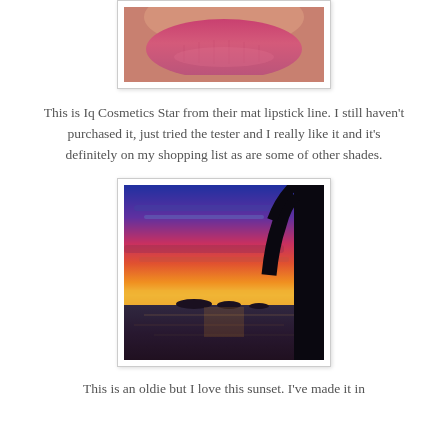[Figure (photo): Close-up photo of pink/mauve lips wearing matte lipstick, cropped showing only the lower face area]
This is Iq Cosmetics Star from their mat lipstick line. I still haven't purchased it, just tried the tester and I really like it and it's definitely on my shopping list as are some of other shades.
[Figure (photo): Sunset photo over a body of water with dramatic red, orange, purple and blue sky, dark silhouette of a tree on the right side]
This is an oldie but I love this sunset. I've made it in